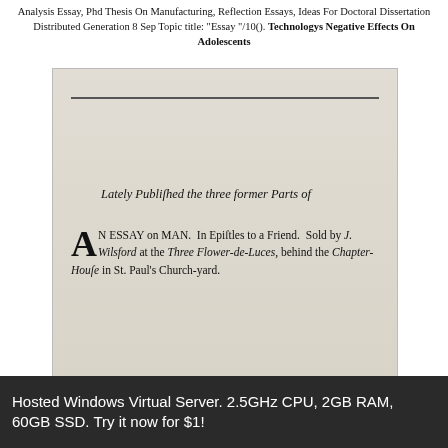Analysis Essay, Phd Thesis On Manufacturing, Reflection Essays, Ideas For Doctoral Dissertation Distributed Generation 8 Sep Topic title: "Essay "/10(). Technologys Negative Effects On Adolescents
[Figure (photo): A photograph of an old printed book page showing text: 'Lately Published the three former Parts of AN ESSAY on MAN. In Epistles to a Friend. Sold by J. Wilsford at the Three Flower-de-Luces, behind the Chapter-House in St. Paul's Church-yard.' with a decorative horizontal rule at the top.]
Hosted Windows Virtual Server. 2.5GHz CPU, 2GB RAM, 60GB SSD. Try it now for $1!